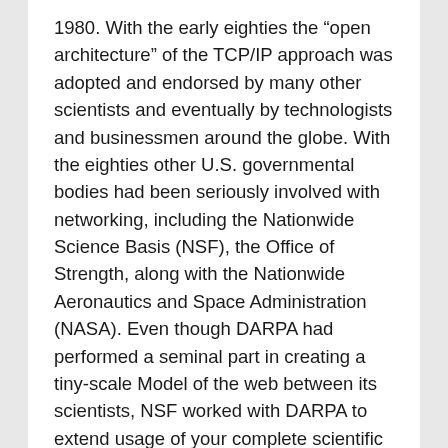1980. With the early eighties the “open architecture” of the TCP/IP approach was adopted and endorsed by many other scientists and eventually by technologists and businessmen around the globe. With the eighties other U.S. governmental bodies had been seriously involved with networking, including the Nationwide Science Basis (NSF), the Office of Strength, along with the Nationwide Aeronautics and Space Administration (NASA). Even though DARPA had performed a seminal part in creating a tiny-scale Model of the web between its scientists, NSF worked with DARPA to extend usage of your complete scientific and academic Group and to create TCP/IP the common in all federally supported research networks. In 1985–86 NSF funded the 1st five supercomputing centres—at Princeton College, the College of Pittsburgh, the College of California, San Diego, the College of Illinois, and Cornell College